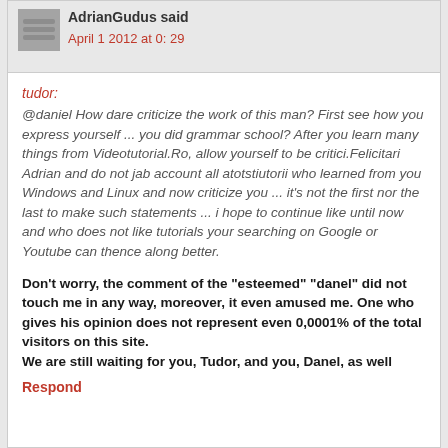AdrianGudus said
April 1 2012 at 0: 29
tudor: @daniel How dare criticize the work of this man? First see how you express yourself ... you did grammar school? After you learn many things from Videotutorial.Ro, allow yourself to be critici.Felicitari Adrian and do not jab account all atotstiutorii who learned from you Windows and Linux and now criticize you ... it's not the first nor the last to make such statements ... i hope to continue like until now and who does not like tutorials your searching on Google or Youtube can thence along better.
Don't worry, the comment of the "esteemed" "danel" did not touch me in any way, moreover, it even amused me. One who gives his opinion does not represent even 0,0001% of the total visitors on this site.
We are still waiting for you, Tudor, and you, Danel, as well
Respond